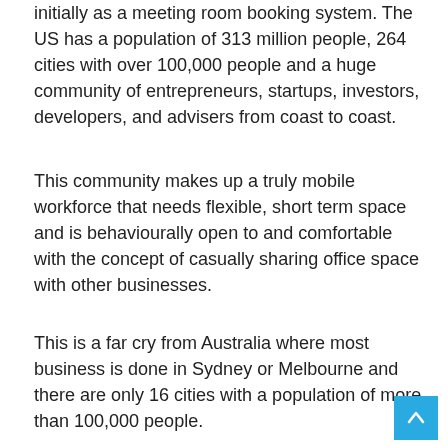initially as a meeting room booking system. The US has a population of 313 million people, 264 cities with over 100,000 people and a huge community of entrepreneurs, startups, investors, developers, and advisers from coast to coast.
This community makes up a truly mobile workforce that needs flexible, short term space and is behaviourally open to and comfortable with the concept of casually sharing office space with other businesses.
This is a far cry from Australia where most business is done in Sydney or Melbourne and there are only 16 cities with a population of more than 100,000 people.